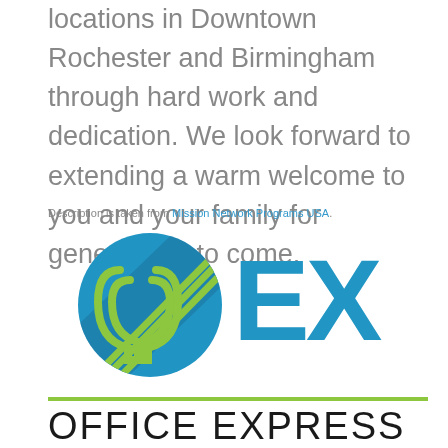locations in Downtown Rochester and Birmingham through hard work and dedication. We look forward to extending a warm welcome to you and your family for generations to come.
Description is taken from Mission Network Programs USA.
[Figure (logo): Office Express (OEX) logo — blue circle with yellow/green diagonal lines forming a paper-clip motif, followed by large blue letters EX, and the text OFFICE EXPRESS in black below a green horizontal rule.]
Office Express, a woman-owned business